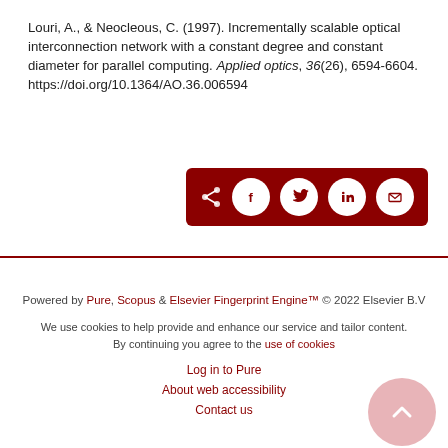Louri, A., & Neocleous, C. (1997). Incrementally scalable optical interconnection network with a constant degree and constant diameter for parallel computing. Applied optics, 36(26), 6594-6604. https://doi.org/10.1364/AO.36.006594
[Figure (other): Dark red share bar with share, Facebook, Twitter, LinkedIn, and email icons]
Powered by Pure, Scopus & Elsevier Fingerprint Engine™ © 2022 Elsevier B.V
We use cookies to help provide and enhance our service and tailor content. By continuing you agree to the use of cookies
Log in to Pure
About web accessibility
Contact us